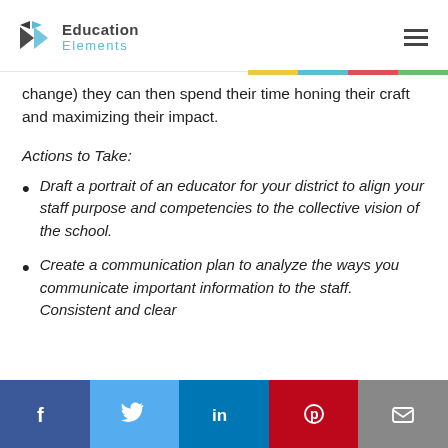Education Elements
change) they can then spend their time honing their craft and maximizing their impact.
Actions to Take:
Draft a portrait of an educator for your district to align your staff purpose and competencies to the collective vision of the school.
Create a communication plan to analyze the ways you communicate important information to the staff. Consistent and clear
Facebook Twitter LinkedIn Pinterest Email